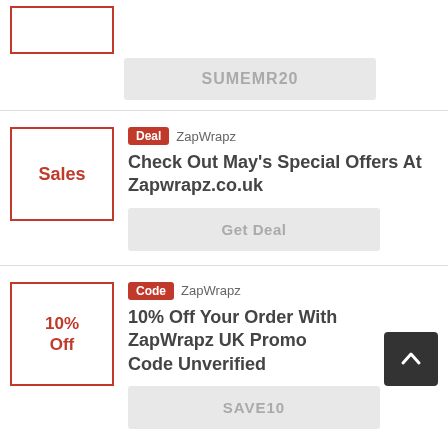[Figure (other): Partial top card with a red-bordered image box and a grey code box showing SUMEMR20]
SUMEMR20
[Figure (other): Deal card with Sales label. Badge: Deal, Brand: ZapWrapz]
Deal ZapWrapz
Check Out May's Special Offers At Zapwrapz.co.uk
Get Deal
[Figure (other): Code card with 10% Off label. Badge: Code, Brand: ZapWrapz]
Code ZapWrapz
10% Off Your Order With ZapWrapz UK Promo Code Unverified
SAVE10